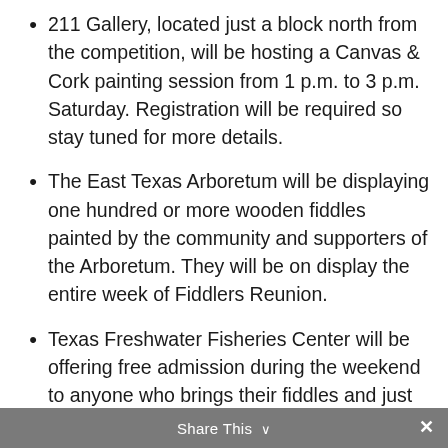211 Gallery, located just a block north from the competition, will be hosting a Canvas & Cork painting session from 1 p.m. to 3 p.m. Saturday. Registration will be required so stay tuned for more details.
The East Texas Arboretum will be displaying one hundred or more wooden fiddles painted by the community and supporters of the Arboretum. They will be on display the entire week of Fiddlers Reunion.
Texas Freshwater Fisheries Center will be offering free admission during the weekend to anyone who brings their fiddles and just wants to jam out. So, you might get to hear some fiddlin’ while fishin’! Fishery hours are 9 a.m. to 4 p.m. Monday through Friday, 11 a.m. to 2 p.m. and 1 p.m. to 4 p.m. Saturday.
Share This